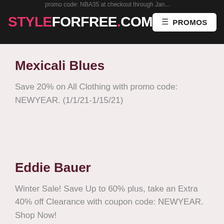STYLEFORFREE.COM — PROMOS
promo code: NBA35 at checkout through Jan...
Mexicali Blues
Save 20% on All Clothing with promo code: NEWYEAR. (1/1/21-1/15/21)
Eddie Bauer
Winter Sale! Save Up to 60% plus, take an Extra 40% off Clearance with coupon code: NEWYEAR. Shop Now!